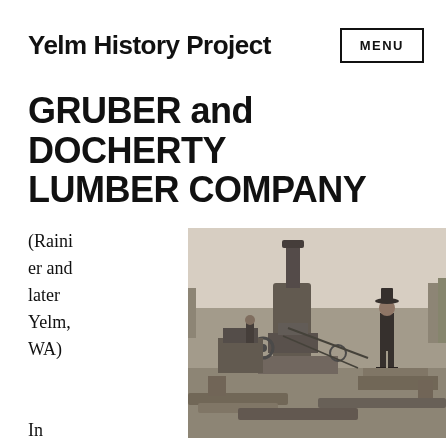Yelm History Project
GRUBER and DOCHERTY LUMBER COMPANY
(Rainier and later Yelm, WA)

In
[Figure (photo): Black and white historical photograph showing a man standing on logging equipment with a steam engine/donkey engine in a logged area, with trees and debris in the background.]